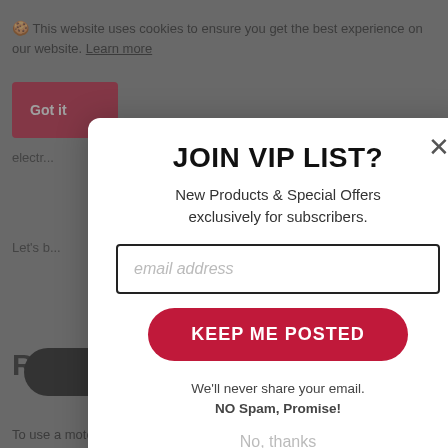🍪 This website uses cookies to ensure you get the best experience on our website. Learn more
Got it
electr... your golf g...
Let's b... lf than w...
Rea...
[Figure (screenshot): Black pill-shaped menu bar with hamburger icon and MENU text]
To use a motorised golf push cart, you must actually walk the
JOIN VIP LIST?
New Products & Special Offers exclusively for subscribers.
email address
KEEP ME POSTED
We'll never share your email.
NO Spam, Promise!
No, thanks